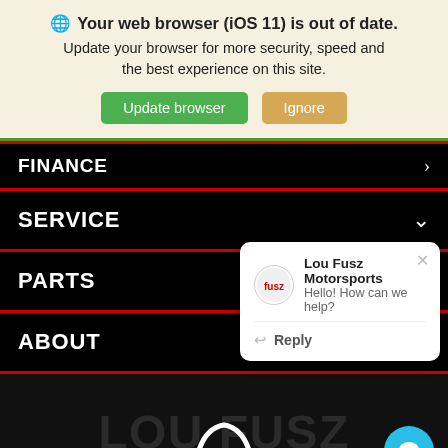🌐 Your web browser (iOS 11) is out of date. Update your browser for more security, speed and the best experience on this site. Update browser | Ignore
FINANCE
SERVICE
PARTS
ABOUT
[Figure (screenshot): Lou Fusz Motorsports chat popup with logo, message 'Hello! How can we help?' and Reply button]
[Figure (logo): Lou Fusz Motorsports logo and background at bottom of page with teal chat button]